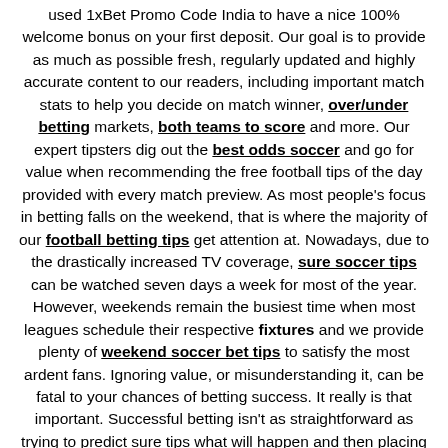used 1xBet Promo Code India to have a nice 100% welcome bonus on your first deposit. Our goal is to provide as much as possible fresh, regularly updated and highly accurate content to our readers, including important match stats to help you decide on match winner, over/under betting markets, both teams to score and more. Our expert tipsters dig out the best odds soccer and go for value when recommending the free football tips of the day provided with every match preview. As most people's focus in betting falls on the weekend, that is where the majority of our football betting tips get attention at. Nowadays, due to the drastically increased TV coverage, sure soccer tips can be watched seven days a week for most of the year. However, weekends remain the busiest time when most leagues schedule their respective fixtures and we provide plenty of weekend soccer bet tips to satisfy the most ardent fans. Ignoring value, or misunderstanding it, can be fatal to your chances of betting success. It really is that important. Successful betting isn't as straightforward as trying to predict sure tips what will happen and then placing the appropriate wagers. You also have to analyze how much value a soccer wagers has to offer. This means comparing the likelihood of it winning with the fixed